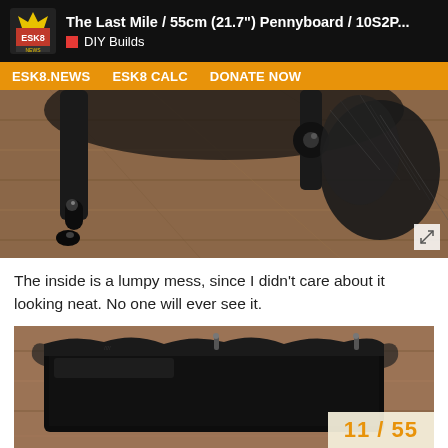The Last Mile / 55cm (21.7") Pennyboard / 10S2P... | DIY Builds
[Figure (photo): Close-up photo of black electric skateboard trucks/hardware on a wooden floor background]
The inside is a lumpy mess, since I didn't care about it looking neat. No one will ever see it.
[Figure (photo): Photo of black electric skateboard enclosure on wooden surface, showing lumpy resin interior. Page number badge shows 11 / 55]